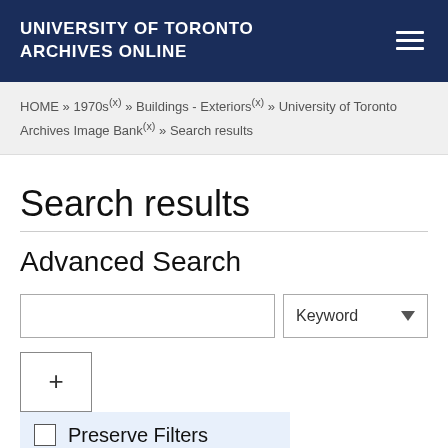UNIVERSITY OF TORONTO ARCHIVES ONLINE
HOME » 1970s(x) » Buildings - Exteriors(x) » University of Toronto Archives Image Bank(x) » Search results
Search results
Advanced Search
Search input field with Keyword dropdown
Preserve Filters